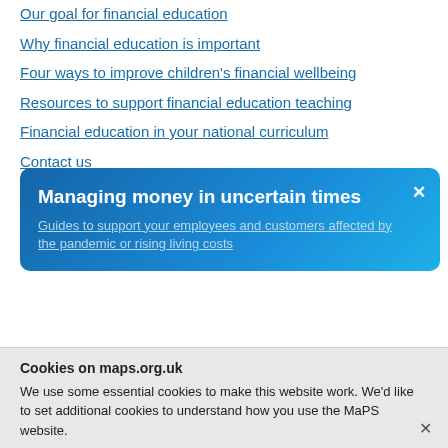Our goal for financial education
Why financial education is important
Four ways to improve children's financial wellbeing
Resources to support financial education teaching
Financial education in your national curriculum
Contact us
The Money and Pensions Service (MaPS) is an arm's-length body of t...
[Figure (other): Popup banner: Managing money in uncertain times. Guides to support your employees and customers affected by the pandemic or rising living costs]
Alongside parents and carers, schools and teachers are uniquely placed to help children and young people to develop the money skills they need.
Cookies on maps.org.uk
We use some essential cookies to make this website work. We'd like to set additional cookies to understand how you use the MaPS website.